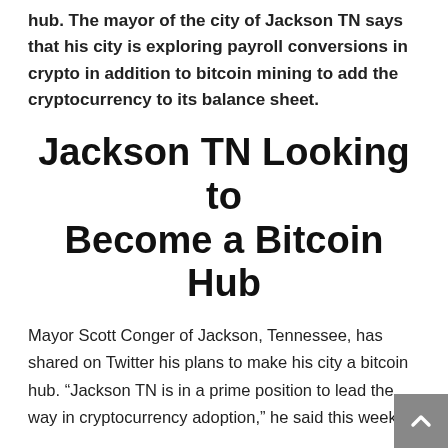hub. The mayor of the city of Jackson TN says that his city is exploring payroll conversions in crypto in addition to bitcoin mining to add the cryptocurrency to its balance sheet.
Jackson TN Looking to Become a Bitcoin Hub
Mayor Scott Conger of Jackson, Tennessee, has shared on Twitter his plans to make his city a bitcoin hub. “Jackson TN is in a prime position to lead the way in cryptocurrency adoption,” he said this week.
“Local government will lead the way in bitcoin adoption, and along with it, usher in a new industrial revolution with sustainable economies that will help close the wealth gap,” the mayor tweeted Wednesday. “Utilizing dollar-cost averaging appreciating assets, like cryptocurrency, is one way we bridge the wealth gap and financially empower people.”